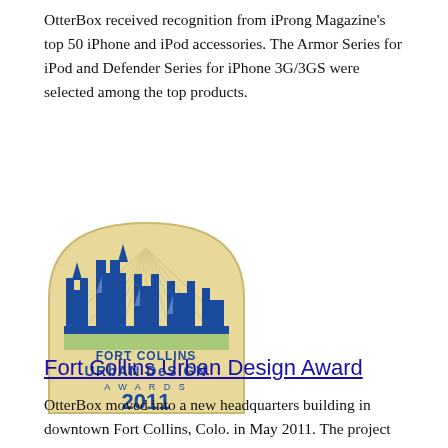OtterBox received recognition from iProng Magazine's top 50 iPhone and iPod accessories. The Armor Series for iPod and Defender Series for iPhone 3G/3GS were selected among the top products.
[Figure (logo): Fort Collins Urban Design Awards 2011 logo — a shield/arch shape with cream background, blue stylized cityscape/castle battlements graphic, text reading FORT COLLINS URBAN DESIGN AWARDS 2011]
Fort Collins Urban Design Award
OtterBox moved into a new headquarters building in downtown Fort Collins, Colo. in May 2011. The project was a true collaboration between many local companies and reflects the inventive, creative...